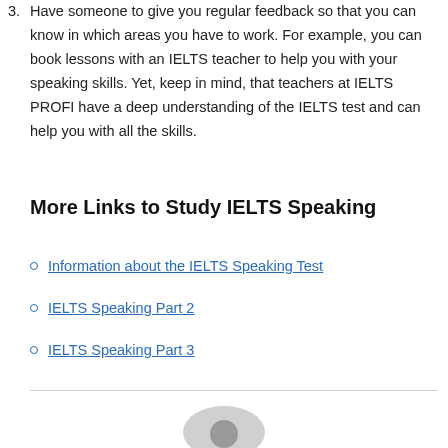3. Have someone to give you regular feedback so that you can know in which areas you have to work. For example, you can book lessons with an IELTS teacher to help you with your speaking skills. Yet, keep in mind, that teachers at IELTS PROFI have a deep understanding of the IELTS test and can help you with all the skills.
More Links to Study IELTS Speaking
Information about the IELTS Speaking Test
IELTS Speaking Part 2
IELTS Speaking Part 3
[Figure (photo): Circular avatar photo of a person, cropped at the bottom of the page]